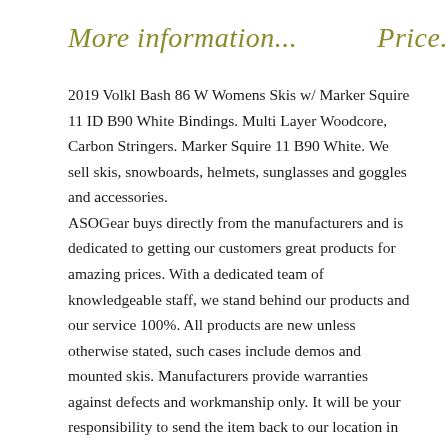More information...    Price...
2019 Volkl Bash 86 W Womens Skis w/ Marker Squire 11 ID B90 White Bindings. Multi Layer Woodcore, Carbon Stringers. Marker Squire 11 B90 White. We sell skis, snowboards, helmets, sunglasses and goggles and accessories.
ASOGear buys directly from the manufacturers and is dedicated to getting our customers great products for amazing prices. With a dedicated team of knowledgeable staff, we stand behind our products and our service 100%. All products are new unless otherwise stated, such cases include demos and mounted skis. Manufacturers provide warranties against defects and workmanship only. It will be your responsibility to send the item back to our location in Oakville, Ontario, Canada at your cost. We must